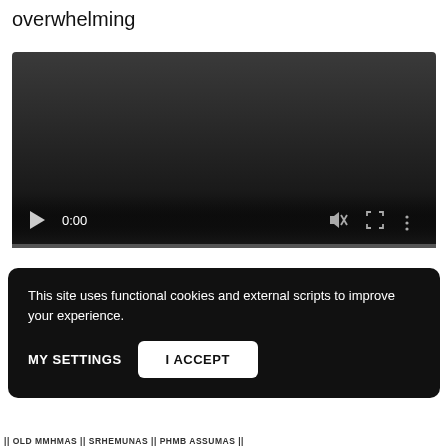overwhelming
[Figure (screenshot): Embedded video player showing a dark/black video with playback controls at the bottom: play button, time display showing 0:00, mute icon, fullscreen icon, and more options icon. A progress bar is visible at the very bottom of the player.]
This site uses functional cookies and external scripts to improve your experience.
MY SETTINGS
I ACCEPT
|| OLD MMHMAS || SRHEMUNAS || PHMB ASSUMAS ||